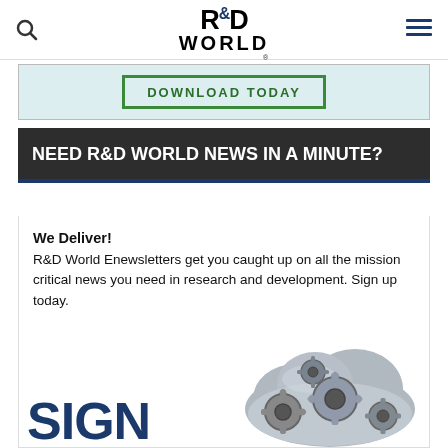R&D World
[Figure (screenshot): Download Today banner with green bordered button on light blue background]
NEED R&D WORLD NEWS IN A MINUTE?
We Deliver! R&D World Enewsletters get you caught up on all the mission critical news you need in research and development. Sign up today.
[Figure (illustration): SIGN UP FOR OUR text in dark blue with a metallic cloud made of gears illustration]